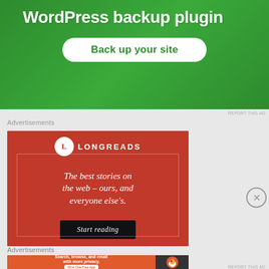[Figure (screenshot): Green background ad for WordPress backup plugin with 'Back up your site' button]
REPORT THIS AD
Advertisements
[Figure (screenshot): Red Longreads advertisement with logo, tagline 'The best stories on the web – ours, and everyone else's.' and 'Start reading' button]
Advertisements
[Figure (screenshot): DuckDuckGo ad: 'Search, browse, and email with more privacy. All in One Free App' with DuckDuckGo logo]